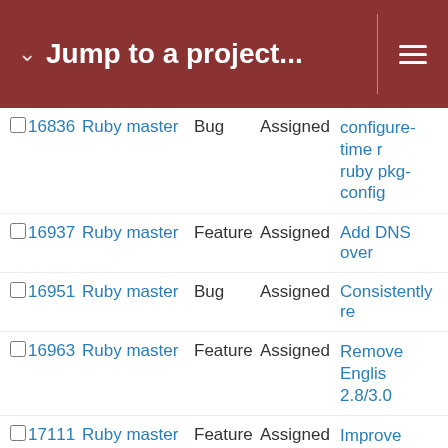Jump to a project...
|  | # | Project | Type | Status | Subject |
| --- | --- | --- | --- | --- | --- |
|  | 16836 | Ruby master | Bug | Assigned | configure-time r ruby pkg-config |
|  | 16937 | Ruby master | Feature | Assigned | Add DNS over |
|  | 16951 | Ruby master | Bug | Assigned | Consistently re |
|  | 16963 | Ruby master | Feature | Assigned | Remove Englis 2.8/3.0 |
|  | 17111 | Ruby master | Feature | Assigned | Improve perfor Net::HTTPHead |
|  | 17196 | Ruby master | Bug | Assigned | Segmentation F Socket#close in |
|  | 17289 | Ruby master | Bug | Assigned | Time#strftime o Fault on ruby-2 |
|  | 17291 | Ruby master | Feature | Assigned | Optimize __ser |
|  | 17294 | Ruby master | Feature | Assigned | Feature: Allow r Pathname#mkr |